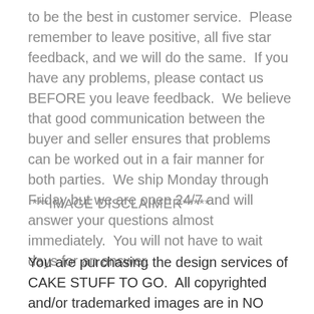to be the best in customer service.  Please remember to leave positive, all five star feedback, and we will do the same.  If you have any problems, please contact us BEFORE you leave feedback.  We believe that good communication between the buyer and seller ensures that problems can be worked out in a fair manner for both parties.  We ship Monday through Friday but we are open 24/7 and will answer your questions almost immediately.  You will not have to wait days for an answer.
***IMAGE DISCLAIMER*****
You are purchasing the design services of CAKE STUFF TO GO.  All copyrighted and/or trademarked images are in NO WAY being sold. These images are included FREE of charge to be used on personal, non-business use